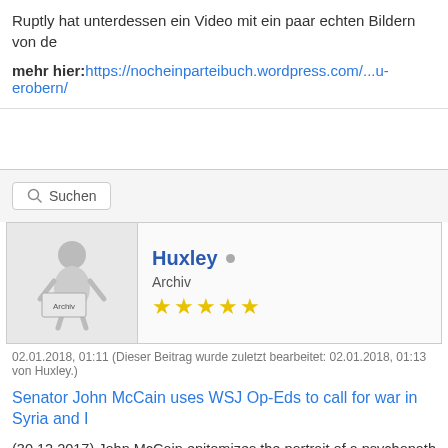Ruptly hat unterdessen ein Video mit ein paar echten Bildern von de
mehr hier: https://nocheinparteibuch.wordpress.com/...u-erobern/
[Figure (screenshot): Search bar button with magnifying glass icon and label 'Suchen']
[Figure (screenshot): User profile card showing avatar (figure holding 'Archiv' sign), username 'Huxley' with online indicator, role 'Archiv', and 5 gold stars]
02.01.2018, 01:11 (Dieser Beitrag wurde zuletzt bearbeitet: 02.01.2018, 01:13 von Huxley.)
Senator John McCain uses WSJ Op-Eds to call for war in Syria and I
(30.12.2017) John McCain epitomizes the portrait of a psychopath wh People like Senator McCain are capable of unimaginable atrocities to That agenda is never-ending war, regardless of how many lives it cos
John McCain@SenJohnMcCain
Must-read @WSJ: "New Protests in #Iran"